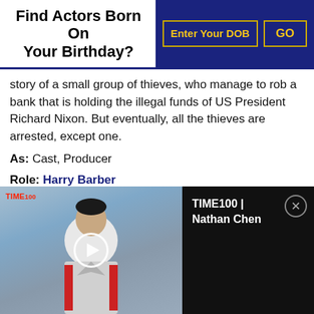Find Actors Born On Your Birthday?
story of a small group of thieves, who manage to rob a bank that is holding the illegal funds of US President Richard Nixon. But eventually, all the thieves are arrested, except one.
As: Cast, Producer
Role: Harry Barber
Director: Mark Steven Johnson
Genres: Crime, Romance
Star Cast: Forest Whitaker, William Fichtner, Lily Rabe,
[Figure (screenshot): Video player overlay showing a person in athletic wear with TIME100 label and play button, alongside a black panel with 'TIME100 | Nathan Chen' title and close button]